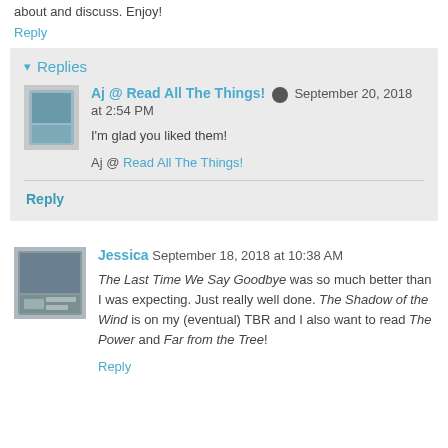about and discuss. Enjoy!
Reply
▾ Replies
Aj @ Read All The Things! September 20, 2018 at 2:54 PM
I'm glad you liked them!
Aj @ Read All The Things!
Reply
Jessica September 18, 2018 at 10:38 AM
The Last Time We Say Goodbye was so much better than I was expecting. Just really well done. The Shadow of the Wind is on my (eventual) TBR and I also want to read The Power and Far from the Tree!
Reply